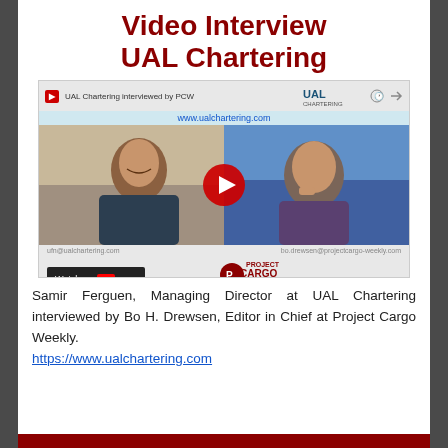Video Interview
UAL Chartering
[Figure (screenshot): Embedded YouTube video thumbnail showing UAL Chartering interview. Two people visible (Samir Ferguen on left, Bo H. Drewsen on right), red play button in center. UAL Chartering logo and www.ualchartering.com shown in top bar. Project Cargo Weekly logo and www.projectcargo-weekly.com in bottom bar. Watch on YouTube button bottom left. Email addresses shown: ufn@ualchartering.com and bo.drewsen@projectcargo-weekly.com]
Samir Ferguen, Managing Director at UAL Chartering interviewed by Bo H. Drewsen, Editor in Chief at Project Cargo Weekly. https://www.ualchartering.com